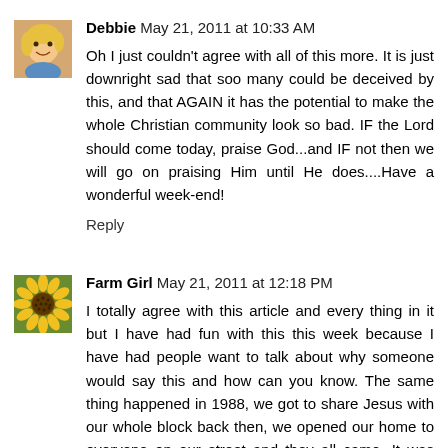Debbie May 21, 2011 at 10:33 AM
Oh I just couldn't agree with all of this more. It is just downright sad that soo many could be deceived by this, and that AGAIN it has the potential to make the whole Christian community look so bad. IF the Lord should come today, praise God...and IF not then we will go on praising Him until He does....Have a wonderful week-end!
Reply
Farm Girl May 21, 2011 at 12:18 PM
I totally agree with this article and every thing in it but I have had fun with this this week because I have had people want to talk about why someone would say this and how can you know. The same thing happened in 1988, we got to share Jesus with our whole block back then, we opened our home to everyone on our street and they all came. It was exciting.
I love it when people like Harold Camping makes my life easier, because then I can open the Bible and show them